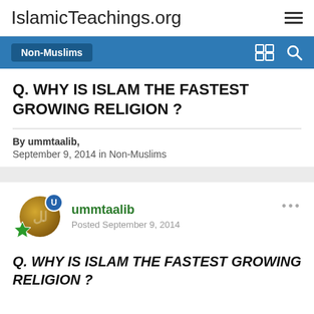IslamicTeachings.org
Non-Muslims
Q. WHY IS ISLAM THE FASTEST GROWING RELIGION ?
By ummtaalib,
September 9, 2014 in Non-Muslims
ummtaalib
Posted September 9, 2014
Q. WHY IS ISLAM THE FASTEST GROWING RELIGION ?